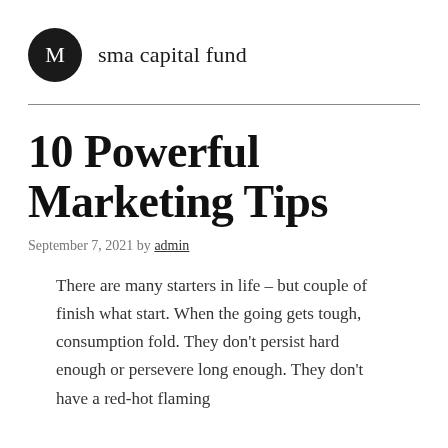M sma capital fund
10 Powerful Marketing Tips
September 7, 2021 by admin
There are many starters in life – but couple of finish what start. When the going gets tough, consumption fold. They don't persist hard enough or persevere long enough. They don't have a red-hot flaming